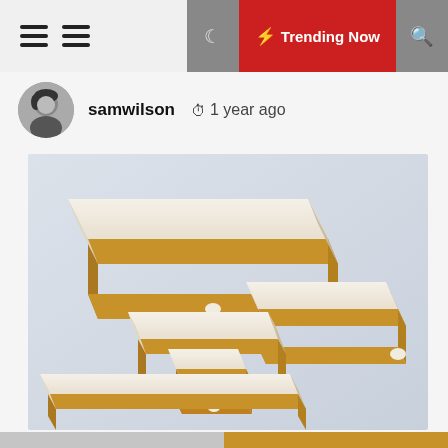≡ ≡  [dark mode] ⚡ Trending Now [search]
samwilson  🕐 1 year ago
[Figure (photo): Several matchbox-style cardboard slide boxes of different sizes arranged on a light gray surface, showing varying open and closed states with white outer shells and kraft brown inner trays, each with a small white pull tab.]